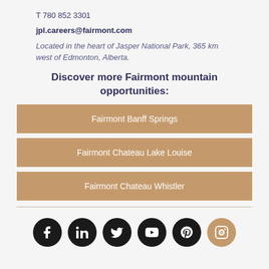T 780 852 3301
jpl.careers@fairmont.com
Located in the heart of Jasper National Park, 365 km west of Edmonton, Alberta.
Discover more Fairmont mountain opportunities:
Fairmont Banff Springs
Fairmont Chateau Lake Louise
Fairmont Chateau Whistler
[Figure (infographic): Row of social media icons: Facebook, LinkedIn, Twitter, YouTube, Pinterest, Instagram]